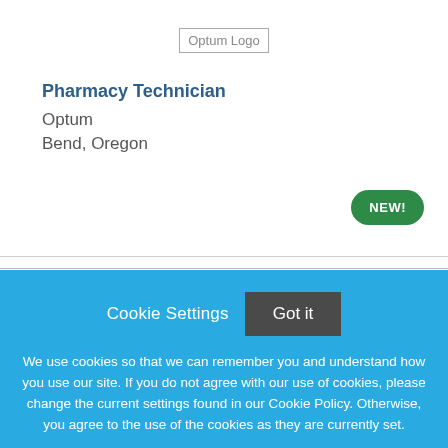[Figure (logo): Optum Logo placeholder image]
Pharmacy Technician
Optum
Bend, Oregon
NEW!
Cookie Settings   Got it
We use cookies so that we can remember you and understand how you use our site. If you do not agree with our use of cookies, please change the current settings found in our Cookie Policy. Otherwise, you agree to the use of the cookies as they are currently set.